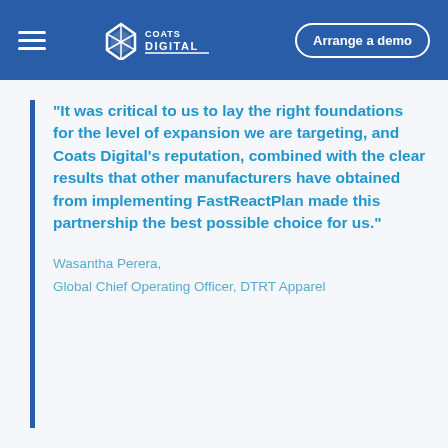Coats Digital | Arrange a demo
“It was critical to us to lay the right foundations for the level of expansion we are targeting, and Coats Digital’s reputation, combined with the clear results that other manufacturers have obtained from implementing FastReactPlan made this partnership the best possible choice for us.”
Wasantha Perera,
Global Chief Operating Officer, DTRT Apparel